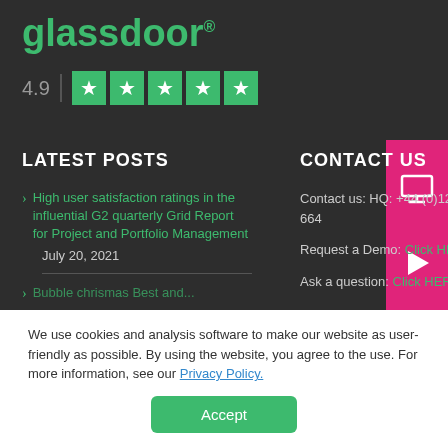[Figure (logo): Glassdoor logo in green with registered trademark symbol]
[Figure (infographic): Rating: 4.9 stars with 5 green star boxes]
LATEST POSTS
High user satisfaction ratings in the influential G2 quarterly Grid Report for Project and Portfolio Management
July 20, 2021
Bubble chrismas Best and...
CONTACT US
Contact us: HQ: +44 (0)1223 852-664
Request a Demo: Click HERE
Ask a question: Click HERE
We use cookies and analysis software to make our website as user-friendly as possible. By using the website, you agree to the use. For more information, see our Privacy Policy.
Accept